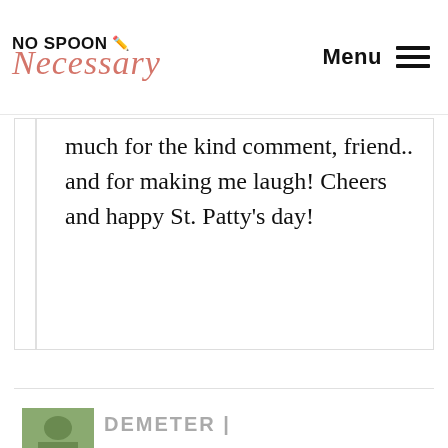No Spoon Necessary / Necessary | Menu
much for the kind comment, friend.. and for making me laugh! Cheers and happy St. Patty's day!
Reply
DEMETER |